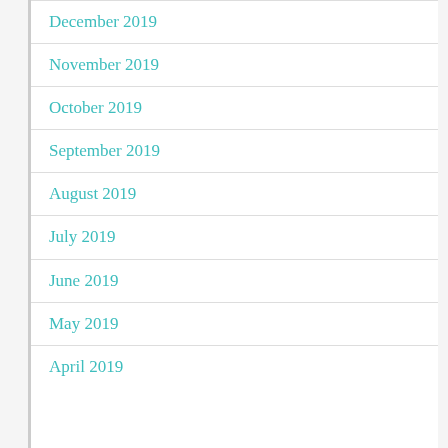December 2019
November 2019
October 2019
September 2019
August 2019
July 2019
June 2019
May 2019
April 2019